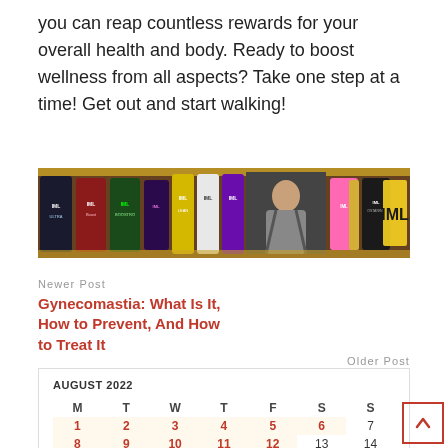you can reap countless rewards for your overall health and body. Ready to boost wellness from all aspects? Take one step at a time! Get out and start walking!
[Figure (photo): Advertisement banner showing IML sports supplement product cans lined up against a brick wall background, with a bodybuilder figure in the center and the IML logo on the right.]
Newer Post
Gynecomastia: What Is It, How to Prevent, And How to Treat It
Older Post
RIP Shawn “Flexatron” Rhoden
| M | T | W | T | F | S | S |
| --- | --- | --- | --- | --- | --- | --- |
| 1 | 2 | 3 | 4 | 5 | 6 | 7 |
| 8 | 9 | 10 | 11 | 12 | 13 | 14 |